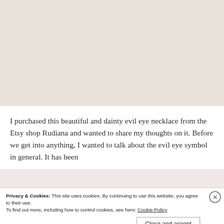[Figure (photo): Beige/cream colored background area representing a product photo (evil eye necklace) partially visible at top of page]
I purchased this beautiful and dainty evil eye necklace from the Etsy shop Rudiana and wanted to share my thoughts on it. Before we get into anything, I wanted to talk about the evil eye symbol in general. It has been
Privacy & Cookies: This site uses cookies. By continuing to use this website, you agree to their use.
To find out more, including how to control cookies, see here: Cookie Policy
Close and accept